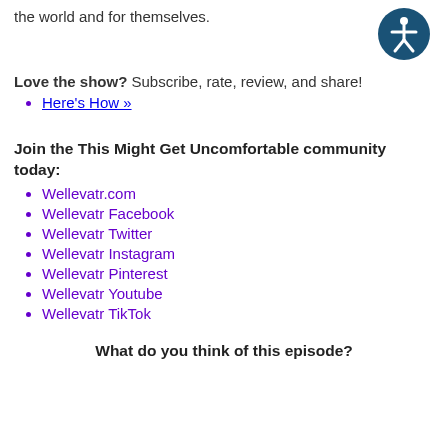the world and for themselves.
[Figure (illustration): Circular accessibility icon: dark teal circle with white person figure (wheelchair accessibility symbol)]
Love the show? Subscribe, rate, review, and share!
Here's How »
Join the This Might Get Uncomfortable community today:
Wellevatr.com
Wellevatr Facebook
Wellevatr Twitter
Wellevatr Instagram
Wellevatr Pinterest
Wellevatr Youtube
Wellevatr TikTok
What do you think of this episode?